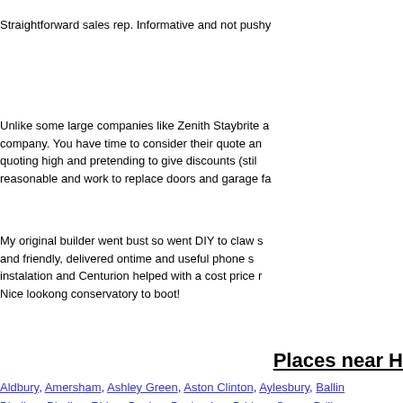Straightforward sales rep. Informative and not pushy
Unlike some large companies like Zenith Staybrite a... company. You have time to consider their quote an... quoting high and pretending to give discounts (stil... reasonable and work to replace doors and garage fa...
My original builder went bust so went DIY to claw s... and friendly, delivered ontime and useful phone s... instalation and Centurion helped with a cost price r... Nice lookong conservatory to boot!
Places near H
Aldbury, Amersham, Ashley Green, Aston Clinton, Aylesbury, Ballin... Bledlow, Bledlow Ridge, Booker, Bovingdon, Bridens Camp, Brill, b... Chesham, Chesham Bois, Cholesbury, Coleshill, Cryers Hill, Dagn... Forty Green, Four Ashes, Frithsden, Gaddesden Row, Great Gadd... Underwood, Haddenham, Handy Cross, Hawridge, Hazlemere, Hi... Heath, Jordans, Knotty Green, Lacey Green, Lane End, Latimer, L... Little Kimble, Little Kingshill, Little Missenden, Long Crendon, Long... Risborough, Naphill, Nash Mills, Nettleden, Northchurch, Oakley, R... Princes Risborough, Quainton, Radnage, Ringshall, Saunderton, S...